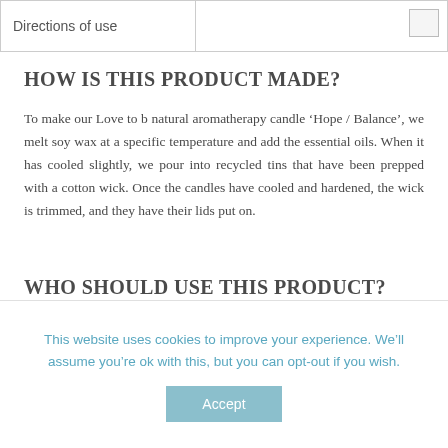| Directions of use |  |
| --- | --- |
|  |
HOW IS THIS PRODUCT MADE?
To make our Love to b natural aromatherapy candle ‘Hope / Balance’, we melt soy wax at a specific temperature and add the essential oils. When it has cooled slightly, we pour into recycled tins that have been prepped with a cotton wick. Once the candles have cooled and hardened, the wick is trimmed, and they have their lids put on.
WHO SHOULD USE THIS PRODUCT?
To scent your home or office the natural way and
This website uses cookies to improve your experience. We’ll assume you’re ok with this, but you can opt-out if you wish.